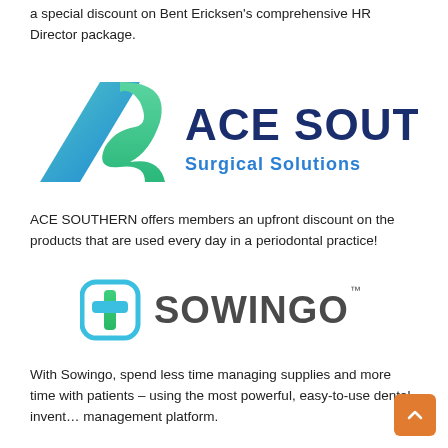a special discount on Bent Ericksen's comprehensive HR Director package.
[Figure (logo): ACE SOUTHERN Surgical Solutions logo — blue/teal diagonal arrow-like icon on the left, large dark blue bold text 'ACE SOUTHERN' on the right, and blue subtitle 'Surgical Solutions' below]
ACE SOUTHERN offers members an upfront discount on the products that are used every day in a periodontal practice!
[Figure (logo): Sowingo logo — green and blue medical cross/plus icon on the left, dark gray bold text 'SOWINGO' with trademark symbol on the right]
With Sowingo, spend less time managing supplies and more time with patients – using the most powerful, easy-to-use dental inventory management platform.